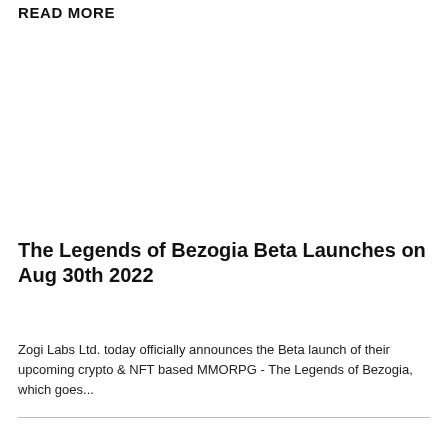READ MORE
The Legends of Bezogia Beta Launches on Aug 30th 2022
Zogi Labs Ltd. today officially announces the Beta launch of their upcoming crypto & NFT based MMORPG - The Legends of Bezogia, which goes...